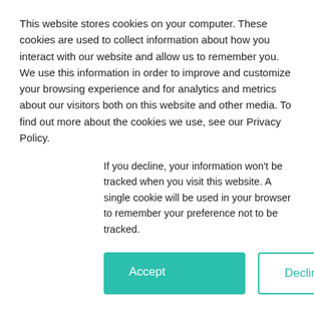This website stores cookies on your computer. These cookies are used to collect information about how you interact with our website and allow us to remember you. We use this information in order to improve and customize your browsing experience and for analytics and metrics about our visitors both on this website and other media. To find out more about the cookies we use, see our Privacy Policy.
If you decline, your information won't be tracked when you visit this website. A single cookie will be used in your browser to remember your preference not to be tracked.
Accept
Decline
Email
Continue
Apple Boost iCloud Security After Celebrity...